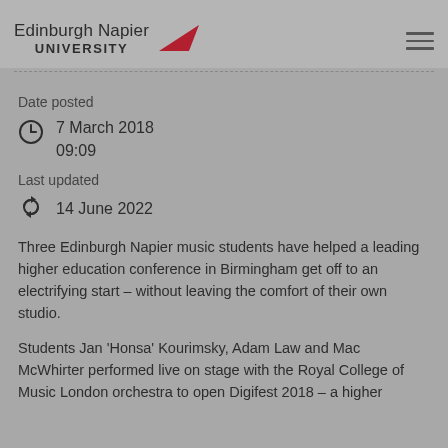Edinburgh Napier UNIVERSITY
Date posted
7 March 2018
09:09
Last updated
14 June 2022
Three Edinburgh Napier music students have helped a leading higher education conference in Birmingham get off to an electrifying start – without leaving the comfort of their own studio.
Students Jan 'Honsa' Kourimsky, Adam Law and Mac McWhirter performed live on stage with the Royal College of Music London orchestra to open Digifest 2018 – a higher